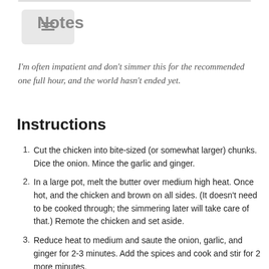Notes
I'm often impatient and don't simmer this for the recommended one full hour, and the world hasn't ended yet.
Instructions
Cut the chicken into bite-sized (or somewhat larger) chunks. Dice the onion. Mince the garlic and ginger.
In a large pot, melt the butter over medium high heat. Once hot, and the chicken and brown on all sides. (It doesn't need to be cooked through; the simmering later will take care of that.) Remote the chicken and set aside.
Reduce heat to medium and saute the onion, garlic, and ginger for 2-3 minutes. Add the spices and cook and stir for 2 more minutes.
Add the tomato sauce and diced tomatoes. Stir and add back...